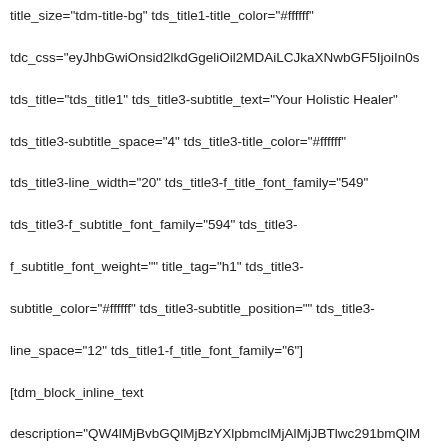title_size="tdm-title-bg" tds_title1-title_color="#ffffff" tdc_css="eyJhbGwiOnsid2lkdGgeliOil2MDAiLCJkaXNwbGF5IjoiIn0s tds_title="tds_title1" tds_title3-subtitle_text="Your Holistic Healer" tds_title3-subtitle_space="4" tds_title3-title_color="#ffffff" tds_title3-line_width="20" tds_title3-f_title_font_family="549" tds_title3-f_subtitle_font_family="594" tds_title3-f_subtitle_font_weight="" title_tag="h1" tds_title3-subtitle_color="#ffffff" tds_title3-subtitle_position="" tds_title3-line_space="12" tds_title1-f_title_font_family="6"] [tdm_block_inline_text description="QW4lMjBvbGQlMjBzYXlpbmclMjAlMjJBTlwc291bmQlM description_color="#ffffff" tdc_css="eyJhbGwiOnsibWFyZ2luLWJvdHRvbSI6IjQwliwid2lkdGgiO [tdm_block_button button_text="BOOK NOW" button_size="tdm-btn-md" button_display="tdm-block-button-inline" tds_button="" tds_button2-border_radius="100" tds_button2-border_color="#ffffff" tds_button1-border_radius="50" tds_button1-background_color="#ffffff" tds_button1-text_color="#51bcc6" tdc_css="eyJhbGwiOnsibWFyZ2luLXRvcCI6IjIh0ljoiMTUiLCJkaXNwbGF5IjoiIn0s tds_button1-background_hover_color="rgba(255,255,255,0.1)"